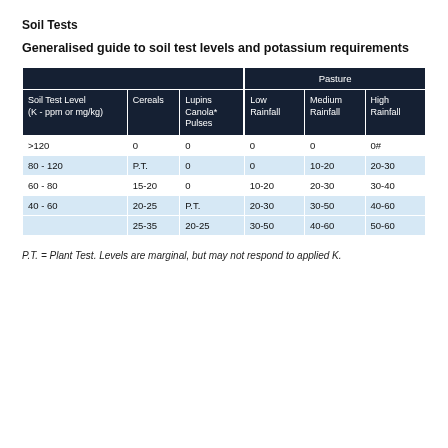Soil Tests
Generalised guide to soil test levels and potassium requirements
| Soil Test Level (K - ppm or mg/kg) | Cereals | Lupins Canola* Pulses | Low Rainfall | Medium Rainfall | High Rainfall |
| --- | --- | --- | --- | --- | --- |
| >120 | 0 | 0 | 0 | 0 | 0# |
| 80 - 120 | P.T. | 0 | 0 | 10-20 | 20-30 |
| 60 - 80 | 15-20 | 0 | 10-20 | 20-30 | 30-40 |
| 40 - 60 | 20-25 | P.T. | 20-30 | 30-50 | 40-60 |
|  | 25-35 | 20-25 | 30-50 | 40-60 | 50-60 |
P.T. = Plant Test. Levels are marginal, but may not respond to applied K.